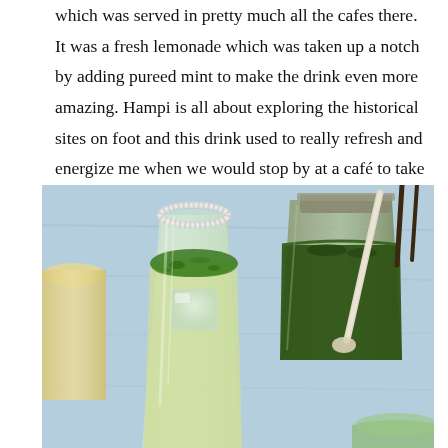which was served in pretty much all the cafes there. It was a fresh lemonade which was taken up a notch by adding pureed mint to make the drink even more amazing. Hampi is all about exploring the historical sites on foot and this drink used to really refresh and energize me when we would stop by at a café to take a break.
[Figure (photo): Overhead photo of mint lemonade drinks on a light blue surface. A tall glass with sugared rim contains green mint puree floating on lemonade with ice. A mason jar with dark green pureed mint and a spoon sits to the right. Another glass is partially visible at bottom right, and a yellow drink glass is partially visible at left.]